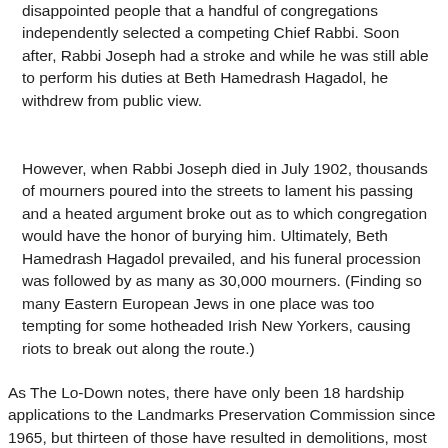disappointed people that a handful of congregations independently selected a competing Chief Rabbi. Soon after, Rabbi Joseph had a stroke and while he was still able to perform his duties at Beth Hamedrash Hagadol, he withdrew from public view.
However, when Rabbi Joseph died in July 1902, thousands of mourners poured into the streets to lament his passing and a heated argument broke out as to which congregation would have the honor of burying him. Ultimately, Beth Hamedrash Hagadol prevailed, and his funeral procession was followed by as many as 30,000 mourners. (Finding so many Eastern European Jews in one place was too tempting for some hotheaded Irish New Yorkers, causing riots to break out along the route.)
As The Lo-Down notes, there have only been 18 hardship applications to the Landmarks Preservation Commission since 1965, but thirteen of those have resulted in demolitions, most recently St. Vincent's Hospital in